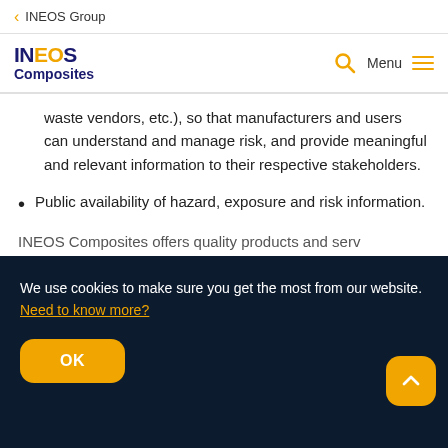< INEOS Group
[Figure (logo): INEOS Composites logo with search and menu icons]
waste vendors, etc.), so that manufacturers and users can understand and manage risk, and provide meaningful and relevant information to their respective stakeholders.
Public availability of hazard, exposure and risk information.
INEOS Composites offers quality products and serv...
We use cookies to make sure you get the most from our website. Need to know more?
OK